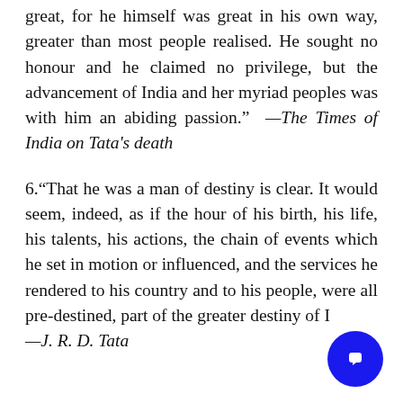great, for he himself was great in his own way, greater than most people realised. He sought no honour and he claimed no privilege, but the advancement of India and her myriad peoples was with him an abiding passion." —The Times of India on Tata's death
6."That he was a man of destiny is clear. It would seem, indeed, as if the hour of his birth, his life, his talents, his actions, the chain of events which he set in motion or influenced, and the services he rendered to his country and to his people, were all pre-destined, part of the greater destiny of I... —J. R. D. Tata